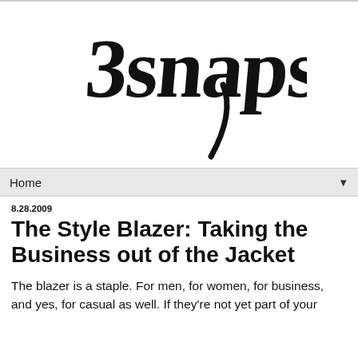[Figure (logo): 3snaps blog logo in black cursive/script handwriting style]
Home ▼
8.28.2009
The Style Blazer: Taking the Business out of the Jacket
The blazer is a staple. For men, for women, for business, and yes, for casual as well. If they're not yet part of your